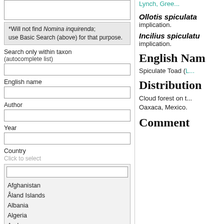*Will not find Nomina inquirenda; use Basic Search (above) for that purpose.
Search only within taxon (autocomplete list)
English name
Author
Year
Country
Click to select
Afghanistan
Åland Islands
Albania
Algeria
Andorra
Angola
Anguilla
Lynch, Gree...
Ollotis spiculata
implication.
Incilius spiculatu
implication.
English Nam
Spiculate Toad (L...
Distribution
Cloud forest on t... Oaxaca, Mexico.
Comment